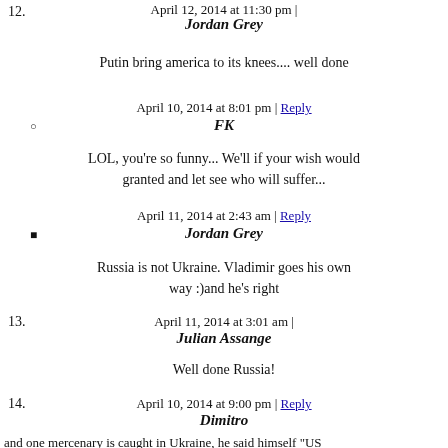April 12, 2014 at 11:30 pm |
12. Jordan Grey
Putin bring america to its knees.... well done
April 10, 2014 at 8:01 pm | Reply
FK
LOL, you're so funny... We'll if your wish would granted and let see who will suffer...
April 11, 2014 at 2:43 am | Reply
Jordan Grey
Russia is not Ukraine. Vladimir goes his own way :)and he's right
April 11, 2014 at 3:01 am |
13. Julian Assange
Well done Russia!
April 10, 2014 at 9:00 pm | Reply
14. Dimitro
and one mercenary is caught in Ukraine, he said himself "US